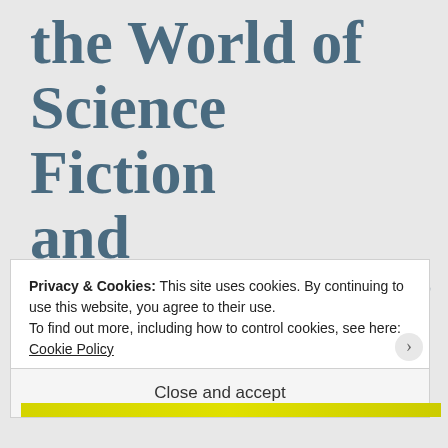the World of Science Fiction and WorldCon?"""
James Pyles says:
August 21, 2018 at 11:01 am
Privacy & Cookies: This site uses cookies. By continuing to use this website, you agree to their use.
To find out more, including how to control cookies, see here: Cookie Policy
Close and accept